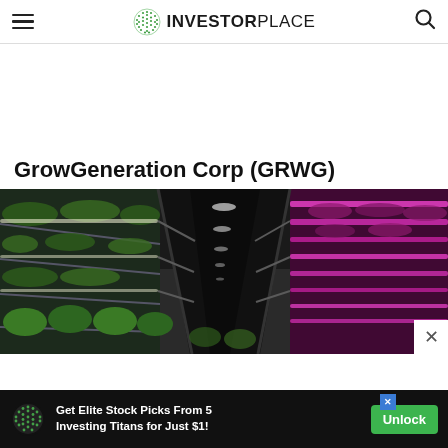InvestorPlace
GrowGeneration Corp (GRWG)
[Figure (photo): Indoor vertical farming facility with green plants on shelves lit by pink/magenta LED grow lights running along the ceiling and shelving units, viewed from a corridor perspective.]
Get Elite Stock Picks From 5 Investing Titans for Just $1!